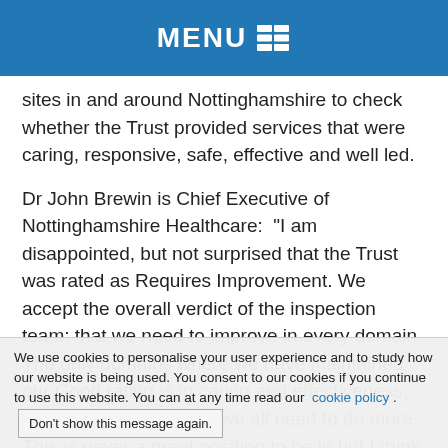MENU
sites in and around Nottinghamshire to check whether the Trust provided services that were caring, responsive, safe, effective and well led.
Dr John Brewin is Chief Executive of Nottinghamshire Healthcare: “I am disappointed, but not surprised that the Trust was rated as Requires Improvement. We accept the overall verdict of the inspection team; that we need to improve in every domain. The only domains where we have maintained our Good rating is in caring and effectiveness, which is reassuring but we all need to do more. This is never a great position to be in but I think we need to learn from this feedback and focus our attention on where we can add most value and not only improve patient care but also the employment experience of our staff. We say we want Nottinghamshire
We use cookies to personalise your user experience and to study how our website is being used. You consent to our cookies if you continue to use this website. You can at any time read our cookie policy . Don’t show this message again.